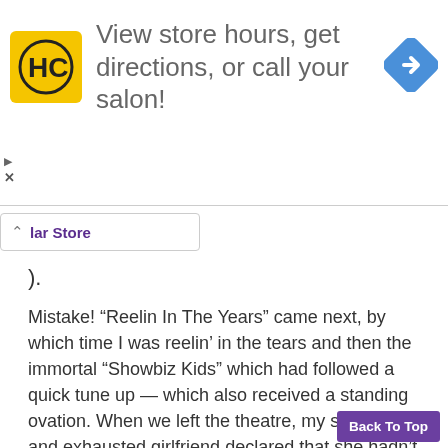[Figure (other): Advertisement banner: HC logo (yellow square with HC text), 'View store hours, get directions, or call your salon!' text, and a blue navigation/directions diamond icon on the right.]
lar Store
).
Mistake! “Reelin In The Years” came next, by which time I was reelin’ in the tears and then the immortal “Showbiz Kids” which had followed a quick tune up — which also received a standing ovation. When we left the theatre, my shattered and exhausted girlfriend declared that she hadn’t had the slightest idea that I was so knowledgeable about American bands and looking sheepishly at me she asked me if we were now going off to go and see the fantastic ‘Dan and His Steel Drums’ that I had promised for her birthday.